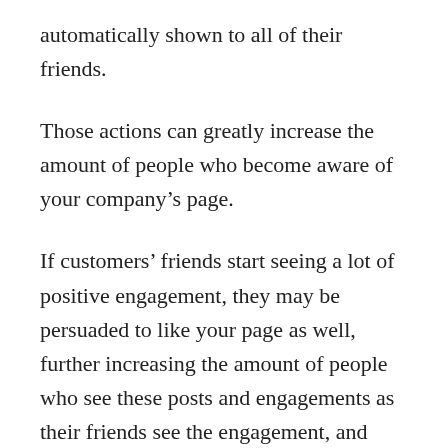automatically shown to all of their friends.
Those actions can greatly increase the amount of people who become aware of your company’s page.
If customers’ friends start seeing a lot of positive engagement, they may be persuaded to like your page as well, further increasing the amount of people who see these posts and engagements as their friends see the engagement, and then their friends and their friends … exponentially, until the world ends.